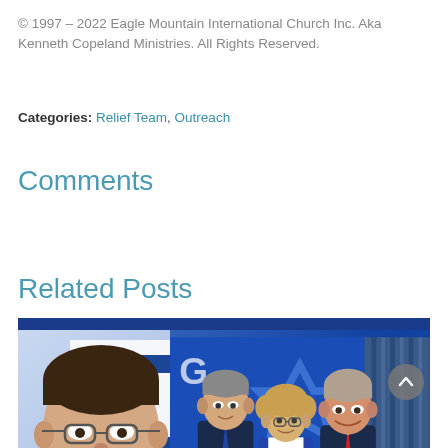© 1997 – 2022 Eagle Mountain International Church Inc. Aka Kenneth Copeland Ministries. All Rights Reserved.
Categories: Relief Team, Outreach
Comments
Related Posts
[Figure (photo): Composite photo showing (left) a man with glasses in front of an Israeli flag, and (right) three people — two men and a woman — standing in front of a blue background with a Star of David. Bottom banner reads 'President of Israel Thanks Kenneth Copeland Ministries']
President of Israel Thanks Kenneth Copeland Ministries